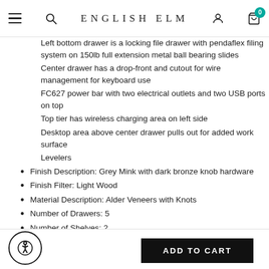ENGLISH ELM
Left bottom drawer is a locking file drawer with pendaflex filing system on 150lb full extension metal ball bearing slides
Center drawer has a drop-front and cutout for wire management for keyboard use
FC627 power bar with two electrical outlets and two USB ports on top
Top tier has wireless charging area on left side
Desktop area above center drawer pulls out for added work surface
Levelers
Finish Description: Grey Mink with dark bronze knob hardware
Finish Filter: Light Wood
Material Description: Alder Veneers with Knots
Number of Drawers: 5
Number of Shelves: 2
Depth: 24.00
ADD TO CART